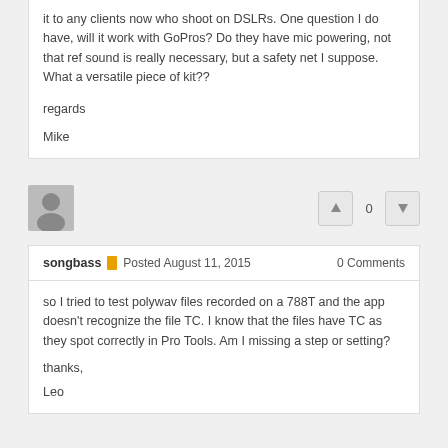it to any clients now who shoot on DSLRs. One question I do have, will it work with GoPros? Do they have mic powering, not that ref sound is really necessary, but a safety net I suppose. What a versatile piece of kit??
regards
Mike
[Figure (illustration): Gray avatar/profile icon placeholder]
0
songbass  Posted August 11, 2015   0 Comments
so I tried to test polywav files recorded on a 788T and the app doesn't recognize the file TC. I know that the files have TC as they spot correctly in Pro Tools. Am I missing a step or setting?
thanks,
Leo